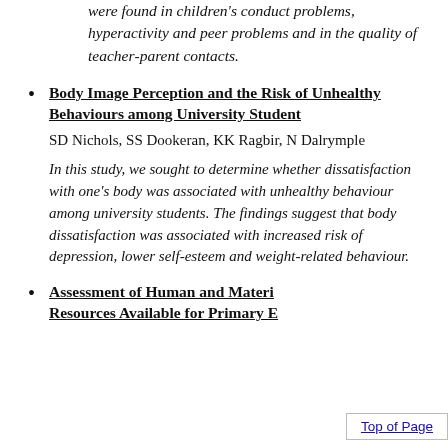were found in children's conduct problems, hyperactivity and peer problems and in the quality of teacher-parent contacts.
Body Image Perception and the Risk of Unhealthy Behaviours among University Student
SD Nichols, SS Dookeran, KK Ragbir, N Dalrymple
In this study, we sought to determine whether dissatisfaction with one's body was associated with unhealthy behaviour among university students. The findings suggest that body dissatisfaction was associated with increased risk of depression, lower self-esteem and weight-related behaviour.
Assessment of Human and Material Resources Available for Primary E...